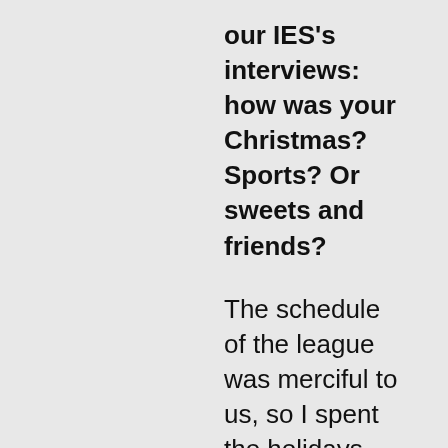our IES's interviews: how was your Christmas? Sports? Or sweets and friends?
The schedule of the league was merciful to us, so I spent the holidays visiting family